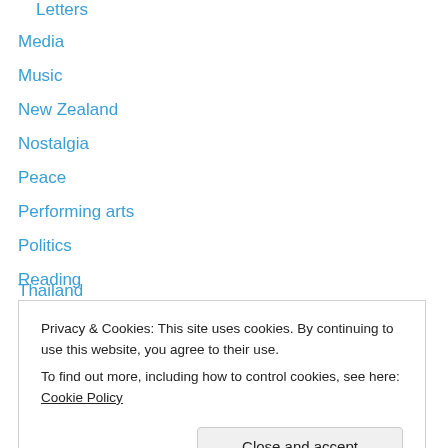Letters
Media
Music
New Zealand
Nostalgia
Peace
Performing arts
Politics
Reading
Short story
Society
Strange things happen…
Technology
Thailand
Privacy & Cookies: This site uses cookies. By continuing to use this website, you agree to their use. To find out more, including how to control cookies, see here: Cookie Policy
Writing